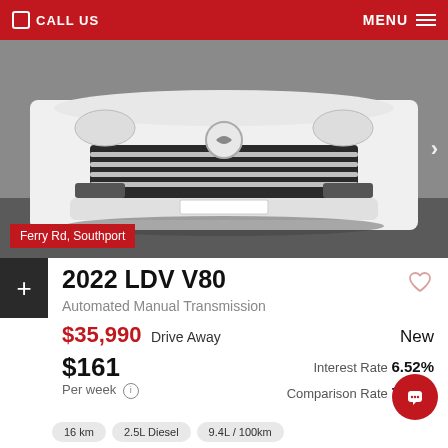CALL US   MENU
[Figure (photo): Front view of a white 2022 LDV V80 van in a showroom with location tag 'Ferry Rd, Southport']
2022 LDV V80
Automated Manual Transmission
$35,990 Drive Away   New
$161
Per week ⓘ
Interest Rate 6.52%
Comparison Rate 7.65%
16 km   2.5L Diesel   9.4L / 100km